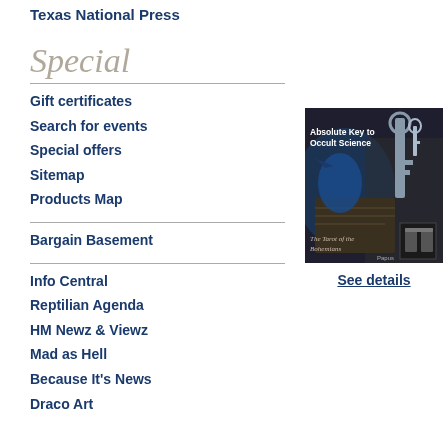Texas National Press
Special
Gift certificates
Search for events
Special offers
Sitemap
Products Map
Bargain Basement
[Figure (illustration): Book cover: 'Absolute Key to Occult Science – The Tarot of the Bohemians' by Papus. Dark background with keys and mysterious imagery.]
See details
Info Central
Reptilian Agenda
HM Newz & Viewz
Mad as Hell
Because It's News
Draco Art